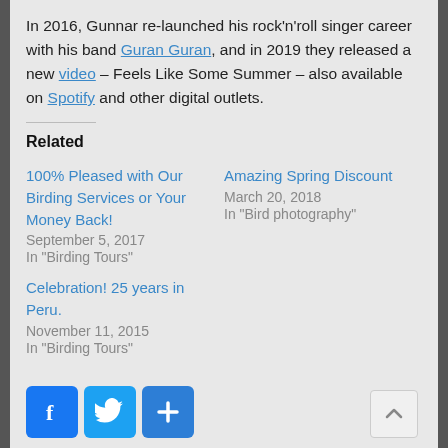In 2016, Gunnar re-launched his rock'n'roll singer career with his band Guran Guran, and in 2019 they released a new video – Feels Like Some Summer – also available on Spotify and other digital outlets.
Related
100% Pleased with Our Birding Services or Your Money Back!
September 5, 2017
In "Birding Tours"
Amazing Spring Discount
March 20, 2018
In "Bird photography"
Celebration! 25 years in Peru.
November 11, 2015
In "Birding Tours"